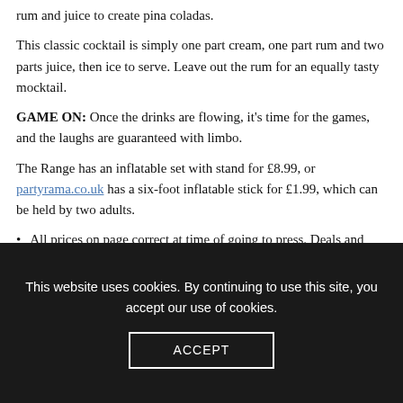rum and juice to create pina coladas.
This classic cocktail is simply one part cream, one part rum and two parts juice, then ice to serve. Leave out the rum for an equally tasty mocktail.
GAME ON: Once the drinks are flowing, it’s time for the games, and the laughs are guaranteed with limbo.
The Range has an inflatable set with stand for £8.99, or partyrama.co.uk has a six-foot inflatable stick for £1.99, which can be held by two adults.
All prices on page correct at time of going to press. Deals and offers subject to availability.
This website uses cookies. By continuing to use this site, you accept our use of cookies.